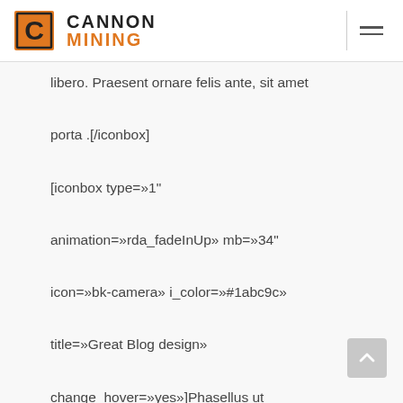CANNON MINING
libero. Praesent ornare felis ante, sit amet porta .[/iconbox] [iconbox type=»1" animation=»rda_fadeInUp» mb=»34" icon=»bk-camera» i_color=»#1abc9c» title=»Great Blog design» change_hover=»yes»]Phasellus ut condimentum diam, eget tempus lorem. Morbi bibendum est quis arcu posuere condimentum. Nullam justo eros, pellentesque a metus non, mattis volutpat